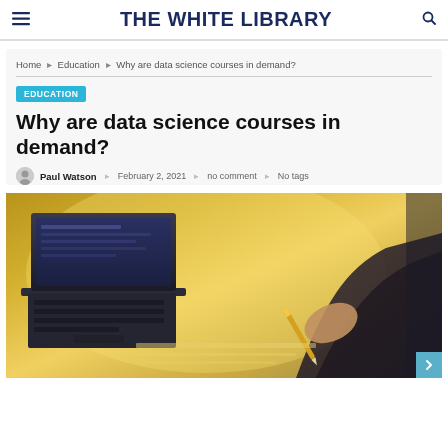THE WHITE LIBRARY
Home » Education » Why are data science courses in demand?
EDUCATION
Why are data science courses in demand?
Paul Watson  February 2, 2021  no comment  No tags
[Figure (photo): Person writing with pencil next to an open laptop on a desk, warm yellow-toned background]